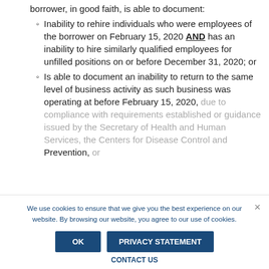borrower, in good faith, is able to document:
Inability to rehire individuals who were employees of the borrower on February 15, 2020 AND has an inability to hire similarly qualified employees for unfilled positions on or before December 31, 2020; or
Is able to document an inability to return to the same level of business activity as such business was operating at before February 15, 2020, due to compliance with requirements established or guidance issued by the Secretary of Health and Human Services, the Centers for Disease Control and Prevention, or
We use cookies to ensure that we give you the best experience on our website. By browsing our website, you agree to our use of cookies.
OK | PRIVACY STATEMENT | CONTACT US | ×